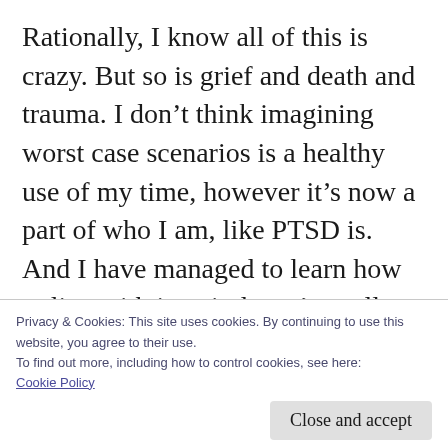Rationally, I know all of this is crazy. But so is grief and death and trauma. I don't think imagining worst case scenarios is a healthy use of my time, however it's now a part of who I am, like PTSD is. And I have managed to learn how to live with it so it doesn't totally consume who I am. Today. Tomorrow may be different. If I've learned anything on this journey, it's to never expect to ever be perfectly 'healed' or 'over it.' That simply doesn't exist when you've
Privacy & Cookies: This site uses cookies. By continuing to use this website, you agree to their use.
To find out more, including how to control cookies, see here:
Cookie Policy
Close and accept